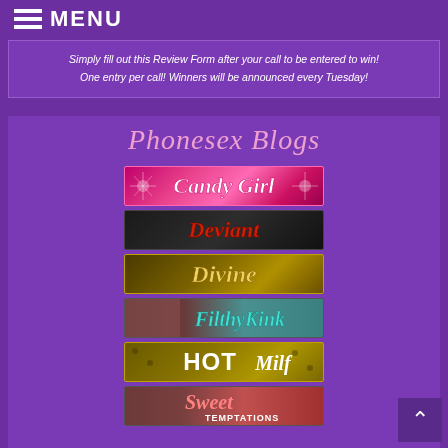MENU
Simply fill out this Review Form after your call to be entered to win! One entry per call! Winners will be announced every Tuesday!
Phonesex Blogs
[Figure (illustration): Candy Girl blog banner - pink sparkle background with script text]
[Figure (illustration): Deviant blog banner - dark background with red script text]
[Figure (illustration): Divine blog banner - golden background with cursive text]
[Figure (illustration): FilthyKink blog banner - woman photo with teal script text]
[Figure (illustration): HOT Milf blog banner - leopard print background with bold text]
[Figure (illustration): Sweet Temptations blog banner - woman photo with pink script text]